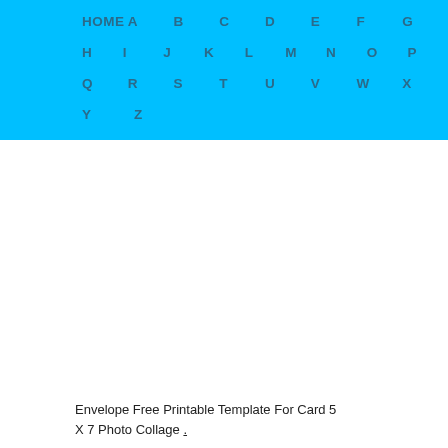HOME  A  B  C  D  E  F  G  H  I  J  K  L  M  N  O  P  Q  R  S  T  U  V  W  X  Y  Z
Envelope Free Printable Template For Card 5 X 7 Photo Collage .